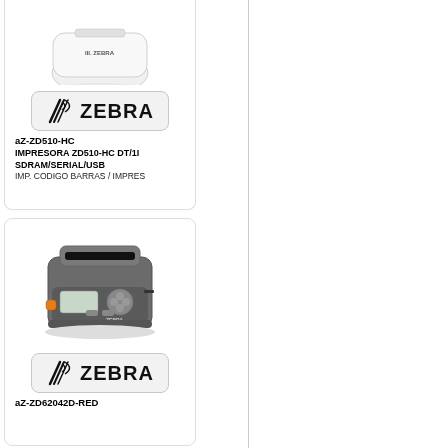[Figure (photo): Partial view of a white Zebra printer device (top portion), cropped at top of page]
[Figure (logo): Zebra Technologies logo badge — zebra stripe icon and ZEBRA text in black on light gray rounded rectangle]
aZ-ZD510-HC
IMPRESORA ZD510-HC DT/1I
SDRAM/SERIAL/USB
IMP. CODIGO BARRAS / IMPRES
[Figure (photo): Zebra ZD620 label printer in dark gray with orange button, LCD display, and control buttons, shown at an angle]
[Figure (logo): Zebra Technologies logo badge — zebra stripe icon and ZEBRA text in black on light gray rounded rectangle]
aZ-ZD62042D-RED